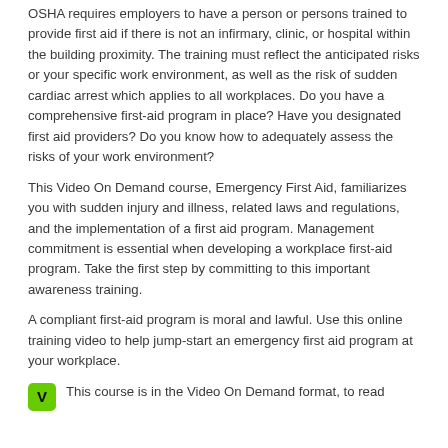OSHA requires employers to have a person or persons trained to provide first aid if there is not an infirmary, clinic, or hospital within the building proximity. The training must reflect the anticipated risks or your specific work environment, as well as the risk of sudden cardiac arrest which applies to all workplaces. Do you have a comprehensive first-aid program in place? Have you designated first aid providers? Do you know how to adequately assess the risks of your work environment?
This Video On Demand course, Emergency First Aid, familiarizes you with sudden injury and illness, related laws and regulations, and the implementation of a first aid program. Management commitment is essential when developing a workplace first-aid program. Take the first step by committing to this important awareness training.
A compliant first-aid program is moral and lawful. Use this online training video to help jump-start an emergency first aid program at your workplace.
This course is in the Video On Demand format, to read